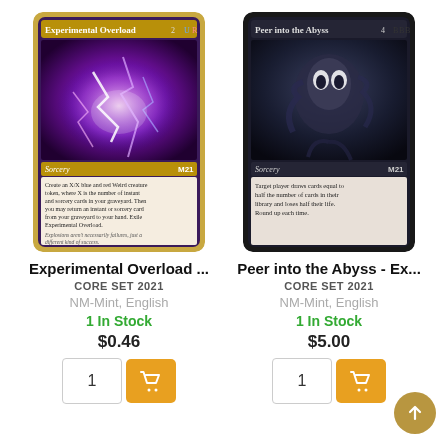[Figure (illustration): Magic: The Gathering card — Experimental Overload, showing blue and red electricity/energy art, gold border, Core Set 2021]
Experimental Overload ...
CORE SET 2021
NM-Mint, English
1 In Stock
$0.46
[Figure (illustration): Magic: The Gathering card — Peer into the Abyss, dark fantasy art with distorted face, black border, Core Set 2021]
Peer into the Abyss - Ex...
CORE SET 2021
NM-Mint, English
1 In Stock
$5.00